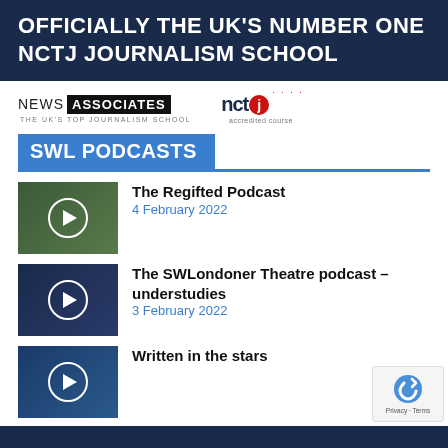OFFICIALLY THE UK'S NUMBER ONE NCTJ JOURNALISM SCHOOL
[Figure (logo): News Associates logo — 'NEWS ASSOCIATES THE UK'S TOP JOURNALISM SCHOOL']
[Figure (logo): NCTJ accredited course logo with red dots]
SWL PODCASTS
[Figure (photo): Podcast thumbnail with play button for The Regifted Podcast]
The Regifted Podcast
4 February 2022
[Figure (photo): Podcast thumbnail with play button for The SWLondoner Theatre podcast]
The SWLondoner Theatre podcast – understudies
3 February 2022
[Figure (photo): Podcast thumbnail with play button for Written in the stars]
Written in the stars